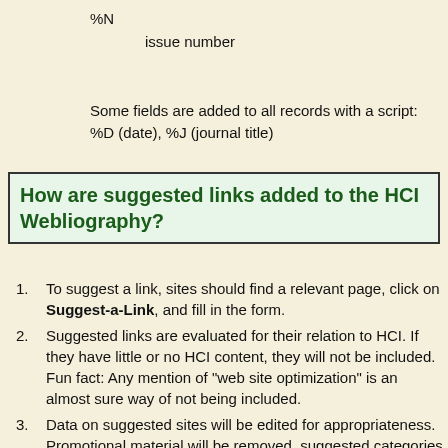%N
    issue number
Some fields are added to all records with a script: %D (date), %J (journal title)
How are suggested links added to the HCI Webliography?
To suggest a link, sites should find a relevant page, click on Suggest-a-Link, and fill in the form.
Suggested links are evaluated for their relation to HCI. If they have little or no HCI content, they will not be included. Fun fact: Any mention of "web site optimization" is an almost sure way of not being included.
Data on suggested sites will be edited for appropriateness. Promotional material will be removed, suggested categories may be modified, and even the suggested title will be modified. For example, if a company called WonderCHI submits a title like "The best user interfaces in the world" the edited title might be "WonderCHI User Interfaces"; and a description like "Our world-class user interface designers will build a website that will double your sales overnight!" might be